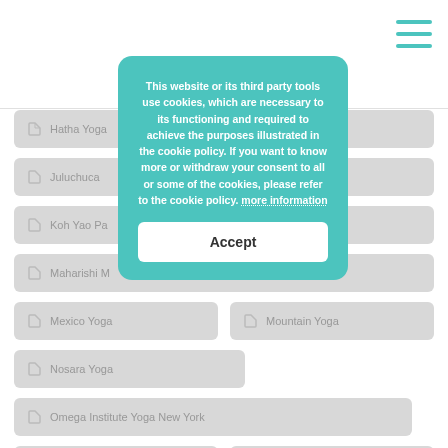[Figure (screenshot): Hamburger menu icon with three teal horizontal lines in top-right corner]
Hatha Yoga
Juluchuca
Koh Yao Pa
Maharishi M
Mexico Yoga
Mountain Yoga
Nosara Yoga
Omega Institute Yoga New York
Playa Viva Yoga
Pre-Natal Yoga
This website or its third party tools use cookies, which are necessary to its functioning and required to achieve the purposes illustrated in the cookie policy. If you want to know more or withdraw your consent to all or some of the cookies, please refer to the cookie policy. more information
Accept